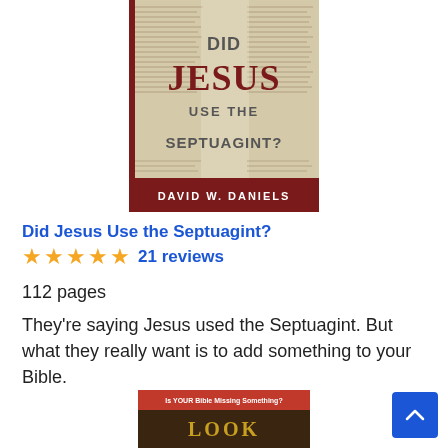[Figure (photo): Book cover of 'Did Jesus Use the Septuagint?' by David W. Daniels, showing ancient manuscript text in the background with the title in dark red and grey lettering, and author name on a dark red banner at the bottom.]
Did Jesus Use the Septuagint?
★★★★★ 21 reviews
112 pages
They're saying Jesus used the Septuagint. But what they really want is to add something to your Bible.
[Figure (photo): Partial view of another book cover with text 'Is YOUR Bible Missing Something?' visible at the top, and a dark brown leather-look cover below.]